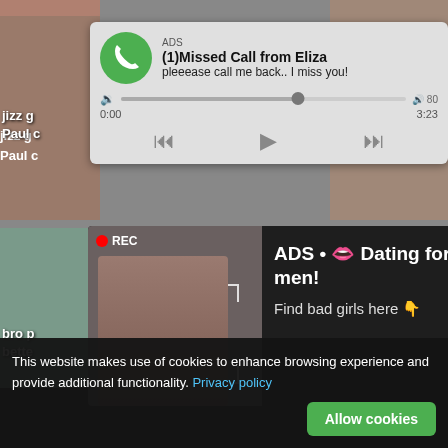[Figure (screenshot): Background collage of adult video thumbnails with partial text 'jizz g', 'Paul c', 'bro p', 'bette' visible on left side, and view counts/icons on right side]
[Figure (screenshot): Ad overlay: phone call notification style. Green circle with phone icon. Label 'ADS', title '(1)Missed Call from Eliza', subtitle 'pleeease call me back.. I miss you!', audio player with progress bar, rewind/play/fast-forward controls, timestamps 0:00 and 3:23]
[Figure (screenshot): Ad overlay: dark card with woman taking selfie with REC indicator and focus frame corners. Text: 'ADS • 👄 Dating for men! Find bad girls here 👇']
This website makes use of cookies to enhance browsing experience and provide additional functionality. Privacy policy
Allow cookies